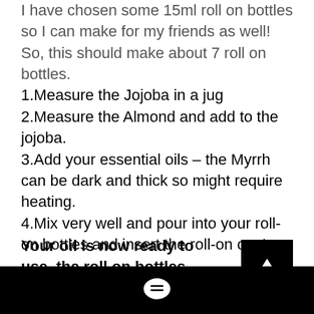I have chosen some 15ml roll on bottles so I can make for my friends as well! So, this should make about 7 roll on bottles.
1.Measure the Jojoba in a jug
2.Measure the Almond and add to the jojoba.
3.Add your essential oils – the Myrrh can be dark and thick so might require heating.
4.Mix very well and pour into your roll-on bottles and insert the roll-on cap!
Your oil is now ready to use, the roll on bottles work great so they are easy to apply to your nail and...
[Figure (other): Black bottom navigation bar with a speech bubble / comment icon in white]